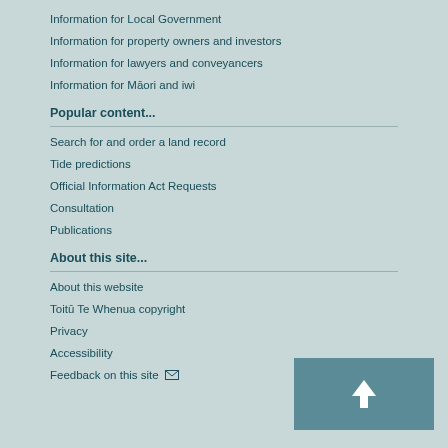Information for Local Government
Information for property owners and investors
Information for lawyers and conveyancers
Information for Māori and iwi
Popular content...
Search for and order a land record
Tide predictions
Official Information Act Requests
Consultation
Publications
About this site...
About this website
Toitū Te Whenua copyright
Privacy
Accessibility
Feedback on this site ✉